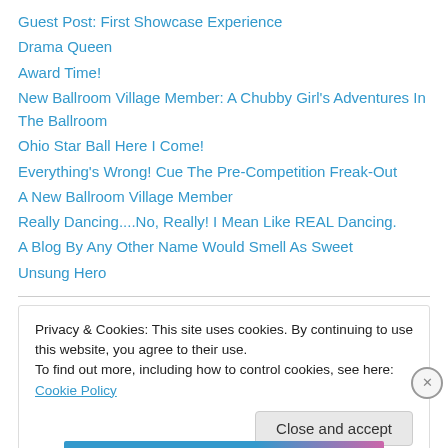Guest Post: First Showcase Experience
Drama Queen
Award Time!
New Ballroom Village Member: A Chubby Girl's Adventures In The Ballroom
Ohio Star Ball Here I Come!
Everything's Wrong! Cue The Pre-Competition Freak-Out
A New Ballroom Village Member
Really Dancing....No, Really! I Mean Like REAL Dancing.
A Blog By Any Other Name Would Smell As Sweet
Unsung Hero
Privacy & Cookies: This site uses cookies. By continuing to use this website, you agree to their use. To find out more, including how to control cookies, see here: Cookie Policy
Close and accept